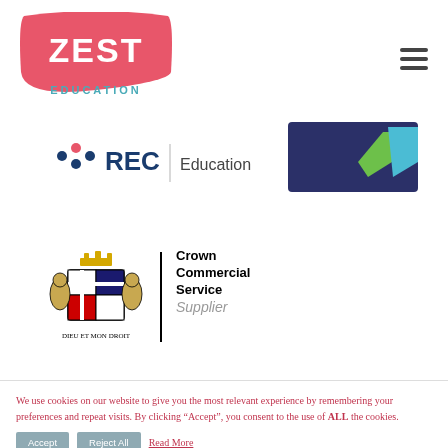[Figure (logo): Zest Education logo — pink/salmon banner shape with 'ZEST' in white bold letters and 'EDUCATION' in teal below]
[Figure (logo): Hamburger menu icon (three horizontal lines) in top right]
[Figure (logo): REC Education partial logo on left side]
[Figure (logo): Checkmark logo (navy background with green and blue checkmark) on right side]
[Figure (logo): Crown Commercial Service Supplier logo with royal coat of arms and vertical divider]
We use cookies on our website to give you the most relevant experience by remembering your preferences and repeat visits. By clicking “Accept”, you consent to the use of ALL the cookies.